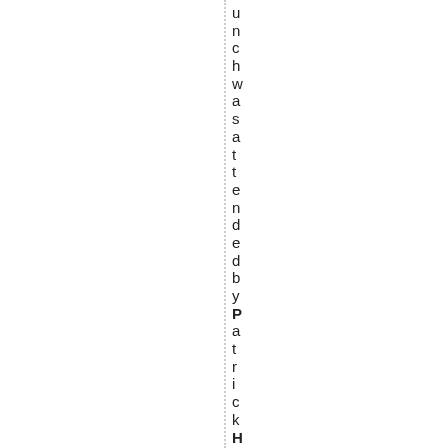unchwasattendedbyPatrickHarvie